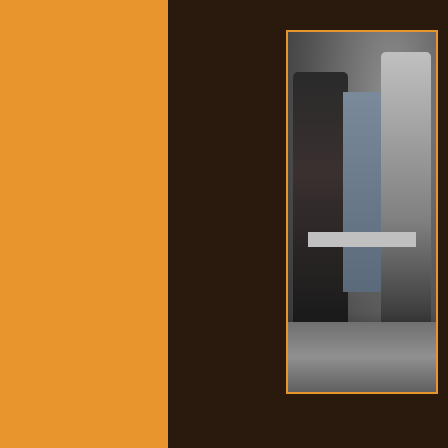[Figure (photo): Layout page with an orange vertical panel on the left side and a dark brown background. On the right side, a framed photo with an orange border shows people standing in what appears to be an exhibition hall or trade show venue, with figures in dark and light clothing visible.]